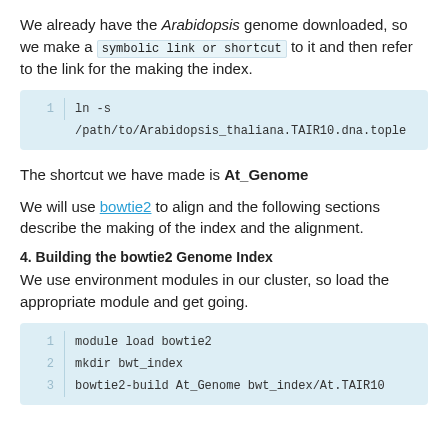We already have the Arabidopsis genome downloaded, so we make a symbolic link or shortcut to it and then refer to the link for the making the index.
[Figure (screenshot): Code block showing: 1  ln -s /path/to/Arabidopsis_thaliana.TAIR10.dna.tople]
The shortcut we have made is At_Genome
We will use bowtie2 to align and the following sections describe the making of the index and the alignment.
4. Building the bowtie2 Genome Index
We use environment modules in our cluster, so load the appropriate module and get going.
[Figure (screenshot): Code block showing:
1  module load bowtie2
2  mkdir bwt_index
3  bowtie2-build At_Genome bwt_index/At.TAIR10]